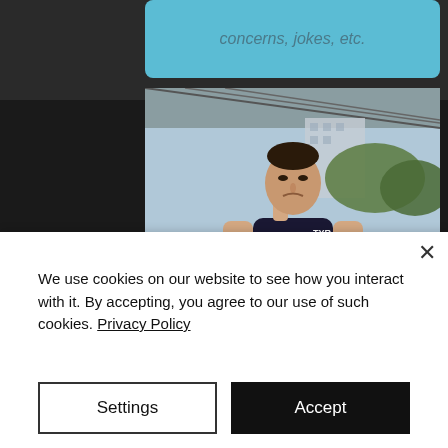concerns, jokes, etc.
[Figure (photo): Male triathlete running, wearing a dark navy TYR racing suit with 'KELL' and 'USA' on the front, outdoors with trees and buildings in background]
We use cookies on our website to see how you interact with it. By accepting, you agree to our use of such cookies. Privacy Policy
Settings
Accept